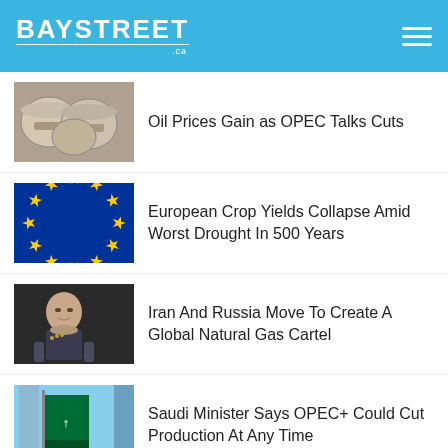BAYSTREET .ca
Oil Prices Gain as OPEC Talks Cuts
European Crop Yields Collapse Amid Worst Drought In 500 Years
Iran And Russia Move To Create A Global Natural Gas Cartel
Saudi Minister Says OPEC+ Could Cut Production At Any Time
Big Tech Is Under Pressure To Turn Its Back On Big Oil
Previous Articles